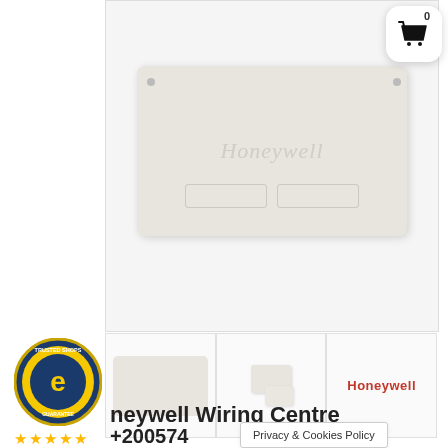[Figure (photo): Main product image of a Honeywell wiring centre box in white/cream color, rectangular with rounded corners, showing the Honeywell brand text on the face and two recessed slot areas at the bottom. Screws visible at top corners.]
[Figure (photo): Small shopping basket icon with count 0 in top right corner, white rounded rectangle background.]
[Figure (photo): Three product thumbnails: (1) front view of Honeywell wiring centre, (2) angled view of open wiring centre, (3) Honeywell brand logo in red.]
[Figure (logo): Trusted Shops circular badge with stylized 'e' logo and 'TRUSTED SHOPS GUARANTEE' text around the edge, gold/blue coloring.]
★★★★★ 4.71
Honeywell Wiring Centre
+200574
Privacy & Cookies Policy